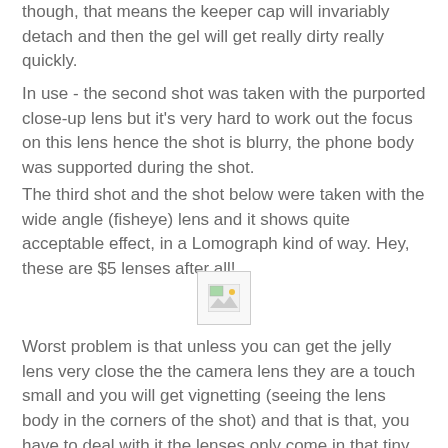though, that means the keeper cap will invariably detach and then the gel will get really dirty really quickly.
In use - the second shot was taken with the purported close-up lens but it's very hard to work out the focus on this lens hence the shot is blurry, the phone body was supported during the shot.
The third shot and the shot below were taken with the wide angle (fisheye) lens and it shows quite acceptable effect, in a Lomograph kind of way. Hey, these are $5 lenses after all!
[Figure (photo): Broken/missing image placeholder showing a small thumbnail icon with a border]
Worst problem is that unless you can get the jelly lens very close the the camera lens they are a touch small and you will get vignetting (seeing the lens body in the corners of the shot) and that is that, you have to deal with it the lenses only come in that tiny size. I would have paid a dollar more to have a larger aperture but there you go.